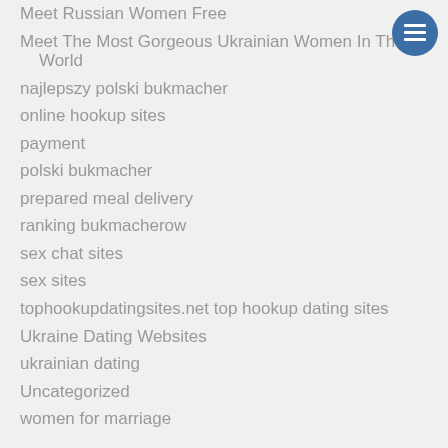Meet Russian Women Free
Meet The Most Gorgeous Ukrainian Women In The World
najlepszy polski bukmacher
online hookup sites
payment
polski bukmacher
prepared meal delivery
ranking bukmacherow
sex chat sites
sex sites
tophookupdatingsites.net top hookup dating sites
Ukraine Dating Websites
ukrainian dating
Uncategorized
women for marriage
[Figure (other): Circular dark blue menu icon button with three horizontal white lines (hamburger menu)]